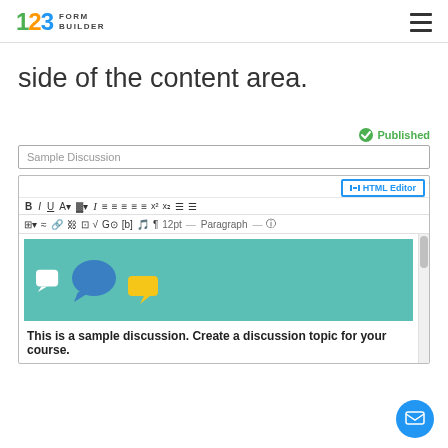123 FORM BUILDER
side of the content area.
Published
Sample Discussion
[Figure (screenshot): Rich text editor toolbar with formatting buttons (B, I, U, A, etc.) and HTML Editor button, followed by a teal discussion banner with chat bubble icons]
This is a sample discussion. Create a discussion topic for your course.